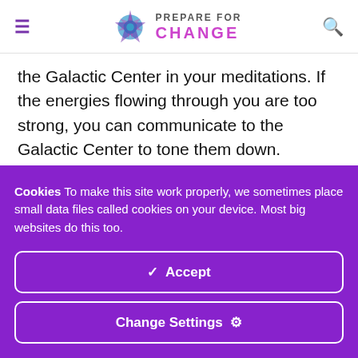Prepare For Change
the Galactic Center in your meditations. If the energies flowing through you are too strong, you can communicate to the Galactic Center to tone them down.
Our active communication with the Pleroma, with the Galactic Center, is creating a feedback loop that will trigger
Cookies To make this site work properly, we sometimes place small data files called cookies on your device. Most big websites do this too.
✓  Accept
Change Settings  ⚙